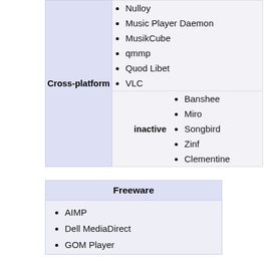|  | active | items |
| --- | --- | --- |
| Cross-platform | active | Nulloy, Music Player Daemon, MusikCube, qmmp, Quod Libet, VLC |
| Cross-platform | inactive | Banshee, Miro, Songbird, Zinf, Clementine |
Freeware
AIMP
Dell MediaDirect
GOM Player